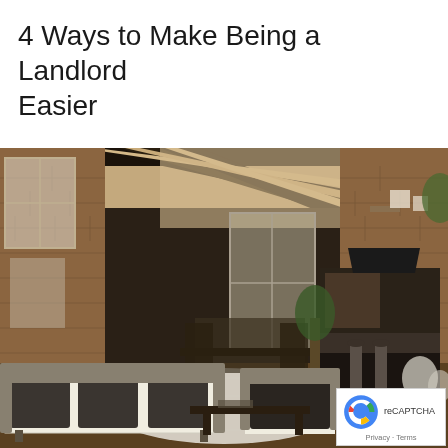4 Ways to Make Being a Landlord Easier
[Figure (photo): Interior photograph of a modern open-plan loft apartment featuring exposed brick walls, dark wooden beam ceiling, contemporary furniture including a sofa, armchair, coffee table, dining area, and open kitchen with bar stools. A reCAPTCHA privacy badge is overlaid in the bottom-right corner.]